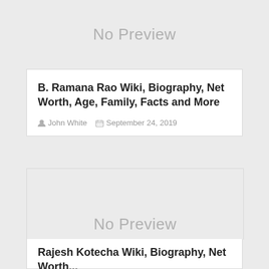[Figure (other): No Preview placeholder image for first card]
B. Ramana Rao Wiki, Biography, Net Worth, Age, Family, Facts and More
John White   September 24, 2019
[Figure (other): No Preview placeholder image for second card]
Rajesh Kotecha Wiki, Biography, Net Worth...